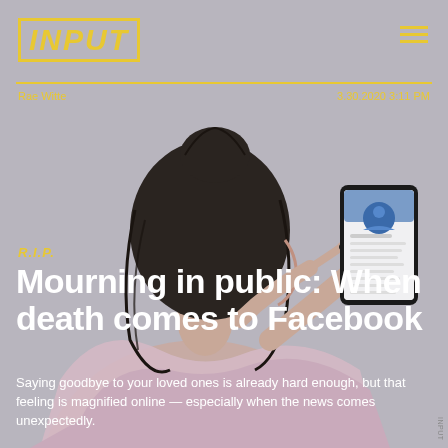INPUT
Rae Witte
3.30.2020 3:11 PM
[Figure (illustration): Illustration of a woman seen from behind with dark hair up in a bun, wearing a lavender/pink shirt, holding a smartphone displaying a Facebook profile page with a blue user avatar icon. Background is a muted purple-grey color.]
R.I.P.
Mourning in public: When death comes to Facebook
Saying goodbye to your loved ones is already hard enough, but that feeling is magnified online — especially when the news comes unexpectedly.